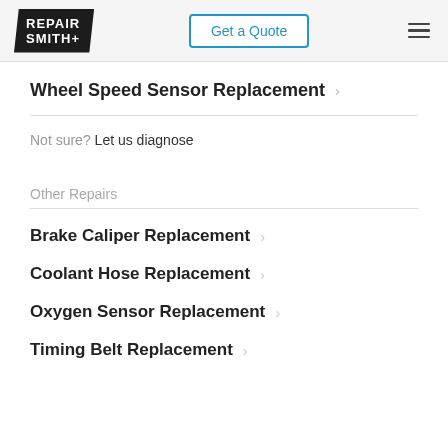RepairSmith | Get a Quote
Wheel Speed Sensor Replacement
Not sure? Let us diagnose
Other Repairs
Brake Caliper Replacement
Coolant Hose Replacement
Oxygen Sensor Replacement
Timing Belt Replacement